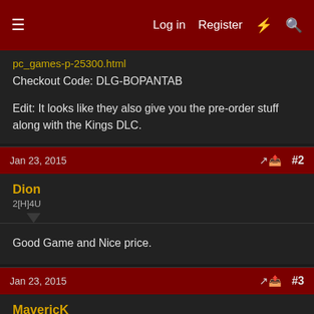Log in  Register
pc_games-p-25300.html
Checkout Code: DLG-BOPANTAB
Edit: It looks like they also give you the pre-order stuff along with the Kings DLC.
Jan 23, 2015  #2
Dion
2[H]4U
Good Game and Nice price.
Jan 23, 2015  #3
MavericK